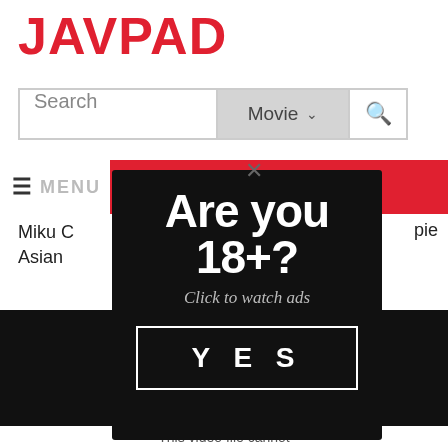JAVPAD
[Figure (screenshot): Search bar with text field showing 'Search', dropdown showing 'Movie' with arrow, and search icon button]
≡ MENU
Miku C... Asian...
...pie
[Figure (screenshot): Age verification modal popup on dark background with text 'Are you 18+?', subtext 'Click to watch ads', and a YES button]
This video file cannot